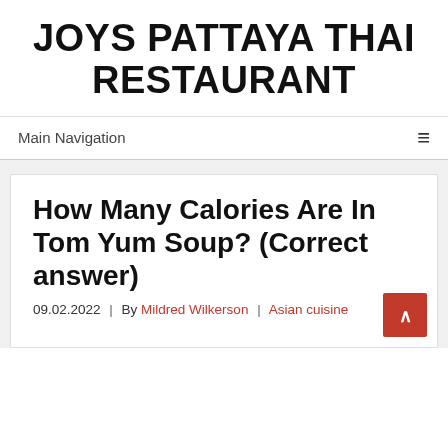JOYS PATTAYA THAI RESTAURANT
Main Navigation
How Many Calories Are In Tom Yum Soup? (Correct answer)
09.02.2022 | By Mildred Wilkerson | Asian cuisine